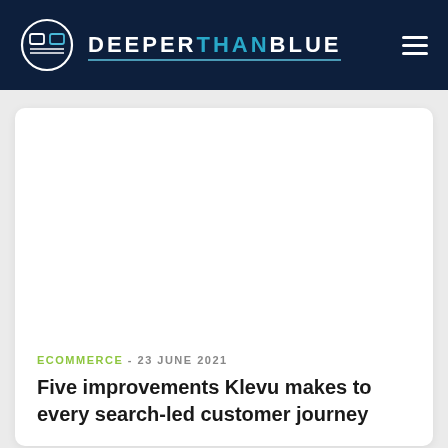DEEPERTHANBLUE
[Figure (other): White card area with blank image placeholder]
ECOMMERCE - 23 JUNE 2021
Five improvements Klevu makes to every search-led customer journey